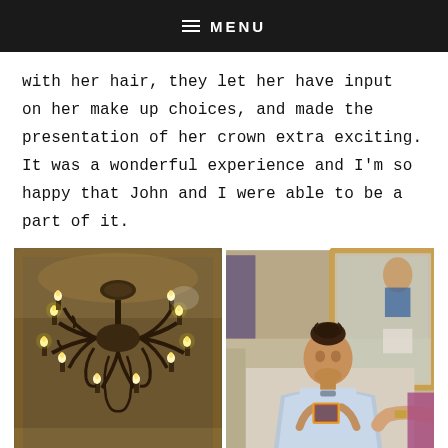≡ MENU
with her hair, they let her have input on her make up choices, and made the presentation of her crown extra exciting. It was a wonderful experience and I'm so happy that John and I were able to be a part of it.
[Figure (photo): Left photo: ornate chandelier with multiple candle-style lights photographed from below against a decorated ceiling with a wooden-framed mirror in the background.]
[Figure (photo): Right photo: a young girl wearing a light blue salon cape sitting in a salon chair, looking down while a stylist's hand holds what appears to be a card or accessory; mirrors and salon interior visible in background.]